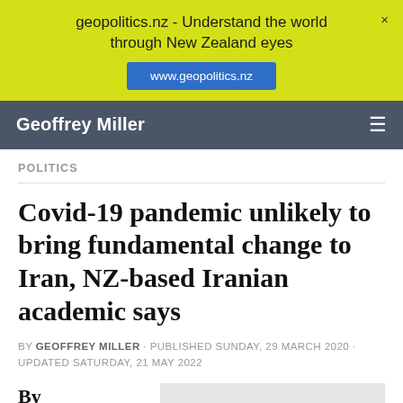geopolitics.nz - Understand the world through New Zealand eyes
www.geopolitics.nz
Geoffrey Miller
POLITICS
Covid-19 pandemic unlikely to bring fundamental change to Iran, NZ-based Iranian academic says
BY GEOFFREY MILLER · PUBLISHED SUNDAY, 29 MARCH 2020 · UPDATED SATURDAY, 21 MAY 2022
By Geoffrey Miller